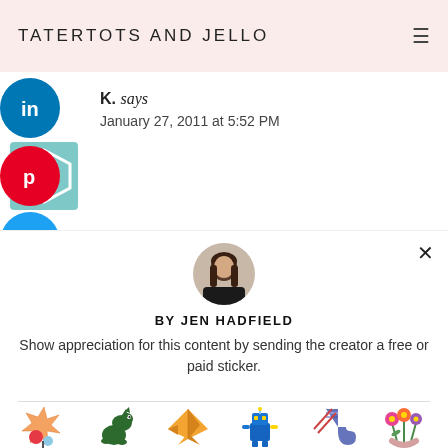TATERTOTS AND JELLO
[Figure (screenshot): Social share buttons: LinkedIn (blue circle), Pinterest (red circle with P icon), Twitter (blue circle) on left side]
[Figure (photo): Decorative geometric tile/avatar image (teal and white star pattern)]
K. says
January 27, 2011 at 5:52 PM
[Figure (photo): Circular avatar photo of Jen Hadfield, woman with long brown hair wearing dark top]
BY JEN HADFIELD
Show appreciation for this content by sending the creator a free or paid sticker.
[Figure (illustration): Sticker icons row: Free (carnival/star toy), $1.00 (green dinosaur), $2.00 (gold origami crane), $4.00 (blue robot), $8.00 (blue knitted sock), $12.00 (flower bouquet)]
Free  $1.00  $2.00  $4.00  $8.00  $12.00